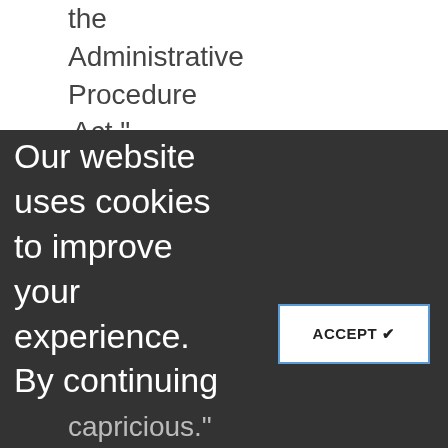the Administrative Procedure Act,"
Our website uses cookies to improve your experience. By continuing to use this website, you are agreeing to our Cookie Policy.
ACCEPT ✔
capricious."